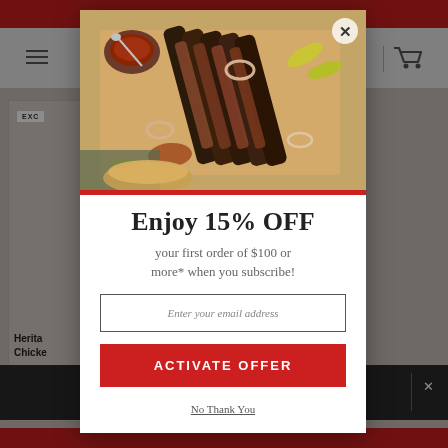[Figure (screenshot): Website screenshot background showing navigation with hamburger menu and cart icon, product cards with 'EXCL' badge and 'Heritage Chicken' text, red top and bottom bars]
[Figure (photo): Food photography showing sliced BBQ brisket on a cutting board with sauce, pickled peppers, and onion rings]
Enjoy 15% OFF
your first order of $100 or more* when you subscribe!
Enter your email address
ACTIVATE OFFER
No Thank You